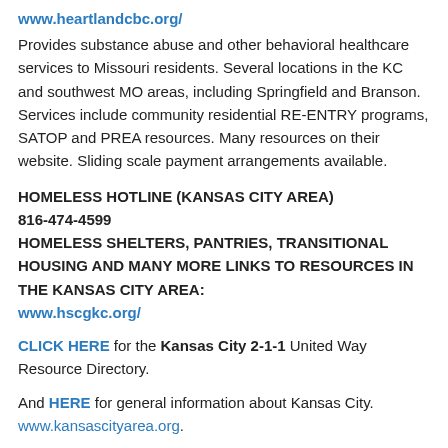www.heartlandcbc.org/
Provides substance abuse and other behavioral healthcare services to Missouri residents. Several locations in the KC and southwest MO areas, including Springfield and Branson. Services include community residential RE-ENTRY programs, SATOP and PREA resources. Many resources on their website. Sliding scale payment arrangements available.
HOMELESS HOTLINE (KANSAS CITY AREA)
816-474-4599
HOMELESS SHELTERS, PANTRIES, TRANSITIONAL HOUSING AND MANY MORE LINKS TO RESOURCES IN THE KANSAS CITY AREA:
www.hscgkc.org/
CLICK HERE for the Kansas City 2-1-1 United Way Resource Directory.
And HERE for general information about Kansas City. www.kansascityarea.org.
CONNECTIONS TO SUCCESS.